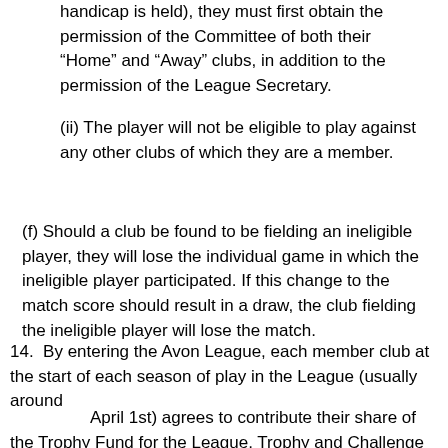handicap is held), they must first obtain the permission of the Committee of both their “Home” and “Away” clubs, in addition to the permission of the League Secretary.
(ii) The player will not be eligible to play against any other clubs of which they are a member.
(f) Should a club be found to be fielding an ineligible player, they will lose the individual game in which the ineligible player participated. If this change to the match score should result in a draw, the club fielding the ineligible player will lose the match.
14.  By entering the Avon League, each member club at the start of each season of play in the League (usually around
April 1st) agrees to contribute their share of the Trophy Fund for the League, Trophy and Challenge for